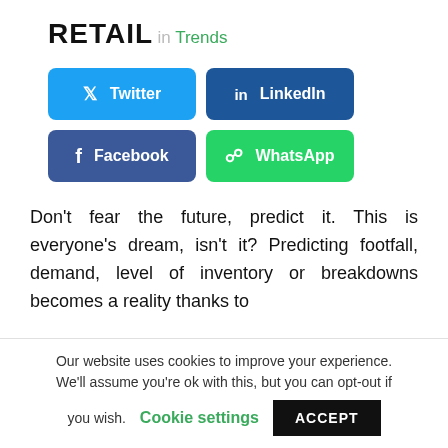RETAIL
in Trends
[Figure (other): Social share buttons: Twitter, LinkedIn, Facebook, WhatsApp]
Don't fear the future, predict it. This is everyone's dream, isn't it? Predicting footfall, demand, level of inventory or breakdowns becomes a reality thanks to
Our website uses cookies to improve your experience. We'll assume you're ok with this, but you can opt-out if you wish. Cookie settings ACCEPT